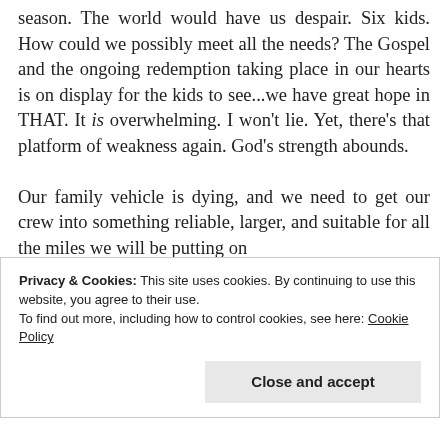season. The world would have us despair. Six kids. How could we possibly meet all the needs? The Gospel and the ongoing redemption taking place in our hearts is on display for the kids to see...we have great hope in THAT. It is overwhelming. I won't lie. Yet, there's that platform of weakness again. God's strength abounds.

Our family vehicle is dying, and we need to get our crew into something reliable, larger, and suitable for all the miles we will be putting on
Privacy & Cookies: This site uses cookies. By continuing to use this website, you agree to their use.
To find out more, including how to control cookies, see here: Cookie Policy